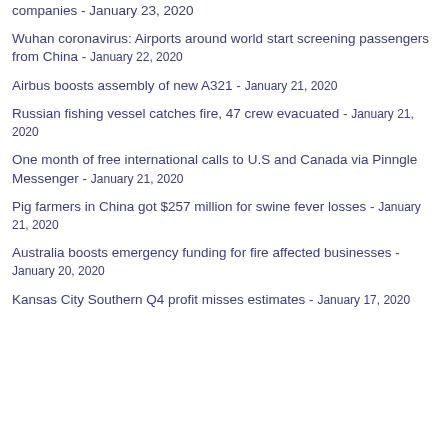companies - January 23, 2020
Wuhan coronavirus: Airports around world start screening passengers from China - January 22, 2020
Airbus boosts assembly of new A321 - January 21, 2020
Russian fishing vessel catches fire, 47 crew evacuated - January 21, 2020
One month of free international calls to U.S and Canada via Pinngle Messenger - January 21, 2020
Pig farmers in China got $257 million for swine fever losses - January 21, 2020
Australia boosts emergency funding for fire affected businesses - January 20, 2020
Kansas City Southern Q4 profit misses estimates - January 17, 2020